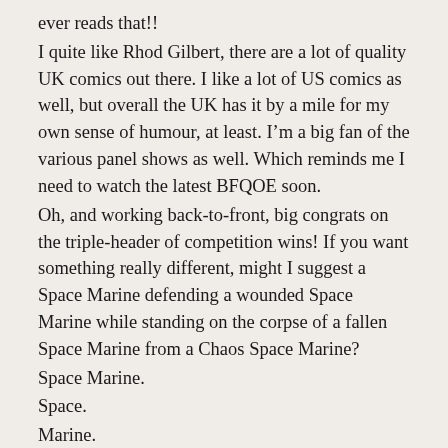ever reads that!!
I quite like Rhod Gilbert, there are a lot of quality UK comics out there. I like a lot of US comics as well, but overall the UK has it by a mile for my own sense of humour, at least. I'm a big fan of the various panel shows as well. Which reminds me I need to watch the latest BFQOE soon.
Oh, and working back-to-front, big congrats on the triple-header of competition wins! If you want something really different, might I suggest a Space Marine defending a wounded Space Marine while standing on the corpse of a fallen Space Marine from a Chaos Space Marine?
Space Marine.
Space.
Marine.
Space.